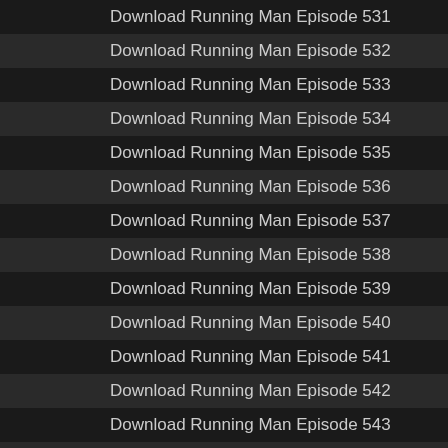Download Running Man Episode 531
Download Running Man Episode 532
Download Running Man Episode 533
Download Running Man Episode 534
Download Running Man Episode 535
Download Running Man Episode 536
Download Running Man Episode 537
Download Running Man Episode 538
Download Running Man Episode 539
Download Running Man Episode 540
Download Running Man Episode 541
Download Running Man Episode 542
Download Running Man Episode 543
Download Running Man Episode 544
Download Running Man Episode 545
Download Running Man Episode 546
Download Running Man Episode 547
Download Running Man Episode 548